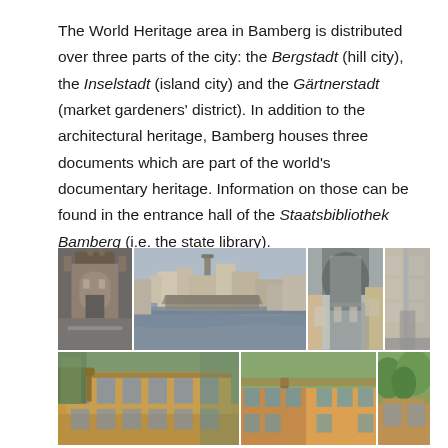The World Heritage area in Bamberg is distributed over three parts of the city: the Bergstadt (hill city), the Inselstadt (island city) and the Gärtnerstadt (market gardeners' district). In addition to the architectural heritage, Bamberg houses three documents which are part of the world's documentary heritage. Information on those can be found in the entrance hall of the Staatsbibliothek Bamberg (i.e. the state library).
[Figure (photo): Grid of 7 photographs showing historical buildings and streets of Bamberg, Germany, including the riverside Little Venice district, half-timbered houses, city gate, cobblestone streets, and ornate baroque buildings.]